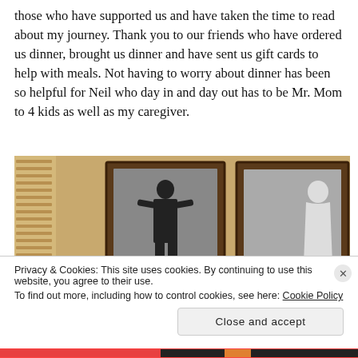those who have supported us and have taken the time to read about my journey. Thank you to our friends who have ordered us dinner, brought us dinner and have sent us gift cards to help with meals. Not having to worry about dinner has been so helpful for Neil who day in and day out has to be Mr. Mom to 4 kids as well as my caregiver.
[Figure (photo): Two framed pictures hanging on a tan/beige wall. The left frame shows a silhouette of a standing figure in a suit. The right frame shows a partial silhouette figure. Venetian blinds are visible on the far left.]
Privacy & Cookies: This site uses cookies. By continuing to use this website, you agree to their use.
To find out more, including how to control cookies, see here: Cookie Policy
Close and accept